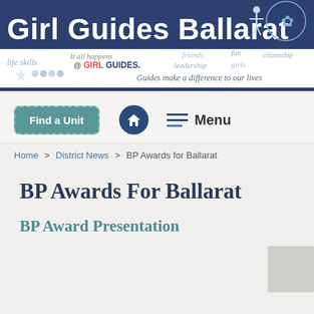[Figure (illustration): Girl Guides Ballarat website header banner with logo, title text 'Girl Guides Ballarat', Girl Guides trefoil logo, and decorative text including 'It all happens @ GIRL GUIDES.', 'Guides make a difference to our lives', with handwritten-style words like 'life skills', 'friends', 'fun', 'leadership', 'girls', 'citizenship']
Find a Unit
Menu
Home > District News > BP Awards for Ballarat
BP Awards For Ballarat
BP Award Presentation